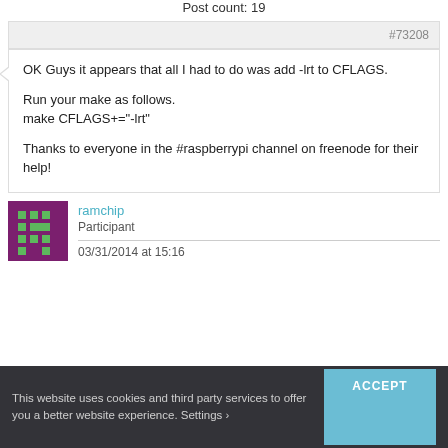Post count: 19
#73208
OK Guys it appears that all I had to do was add -lrt to CFLAGS.

Run your make as follows.
make CFLAGS+="-lrt"

Thanks to everyone in the #raspberrypi channel on freenode for their help!
ramchip
Participant
03/31/2014 at 15:16
This website uses cookies and third party services to offer you a better website experience. Settings ›